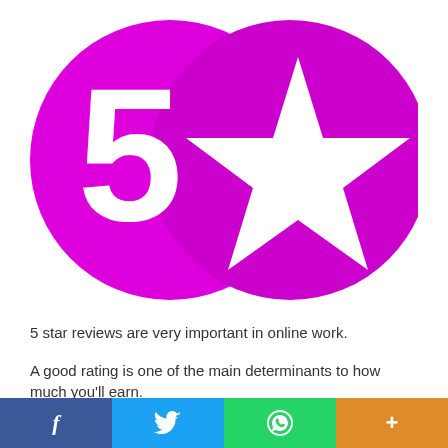[Figure (illustration): Two overlapping circles in magenta/purple color. Left circle contains white number '5', right circle contains a white five-pointed star. Together they form a '5 star' logo graphic.]
5 star reviews are very important in online work.
A good rating is one of the main determinants to how much you'll earn.
f  [Twitter bird]  [WhatsApp]  +